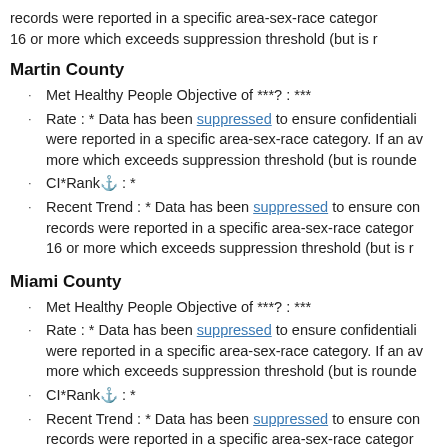records were reported in a specific area-sex-race category. If an average count of 16 or more which exceeds suppression threshold (but is rounded to 16 or more)...
Martin County
Met Healthy People Objective of ***?: ***
Rate : * Data has been suppressed to ensure confidentiality and stability of rate estimates. Fewer than 16 records were reported in a specific area-sex-race category. If an average count of 16 or more which exceeds suppression threshold (but is rounded to 16 or more)...
CI*Rank⚓ : *
Recent Trend : * Data has been suppressed to ensure confidentiality and stability of rate estimates. Fewer than 16 records were reported in a specific area-sex-race category. If an average count of 16 or more which exceeds suppression threshold (but is rounded to 16 or more)...
Miami County
Met Healthy People Objective of ***?: ***
Rate : * Data has been suppressed to ensure confidentiality and stability of rate estimates. Fewer than 16 records were reported in a specific area-sex-race category. If an average count of 16 or more which exceeds suppression threshold (but is rounded to 16 or more)...
CI*Rank⚓ : *
Recent Trend : * Data has been suppressed to ensure confidentiality and stability of rate estimates. Fewer than 16 records were reported in a specific area-sex-race category. If an average count of 16 or more which exceeds suppression threshold (but is rounded to 16 or more)...